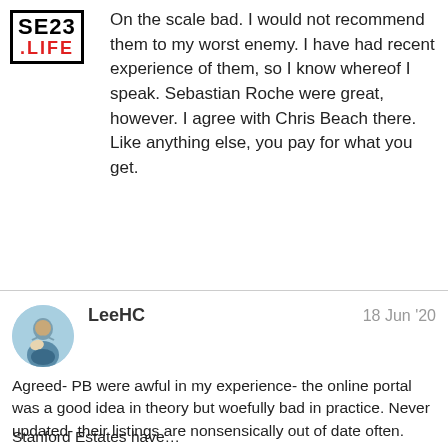SE23 .LIFE
On the scale bad. I would not recommend them to my worst enemy. I have had recent experience of them, so I know whereof I speak. Sebastian Roche were great, however. I agree with Chris Beach there. Like anything else, you pay for what you get.
LeeHC   18 Jun '20
Agreed- PB were awful in my experience- the online portal was a good idea in theory but woefully bad in practice. Never updated- their listings are nonsensically out of date often.

I'd add Peter James to the crap list too- horribly pushy and insistent like all the worst stereotypes of estate agents.

Stanford Estates have...